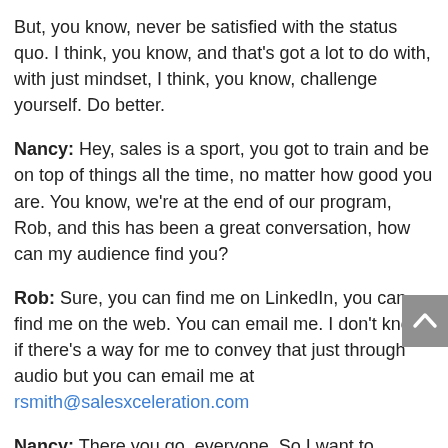But, you know, never be satisfied with the status quo. I think, you know, and that's got a lot to do with, with just mindset, I think, you know, challenge yourself. Do better.
Nancy: Hey, sales is a sport, you got to train and be on top of things all the time, no matter how good you are. You know, we're at the end of our program, Rob, and this has been a great conversation, how can my audience find you?
Rob: Sure, you can find me on LinkedIn, you can find me on the web. You can email me. I don't know if there's a way for me to convey that just through audio but you can email me at rsmith@salesxceleration.com
Nancy: There you go, everyone. So I want to